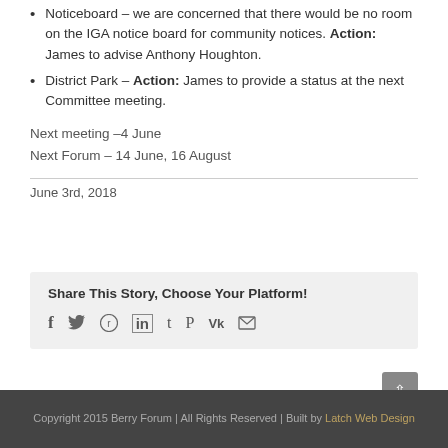Noticeboard – we are concerned that there would be no room on the IGA notice board for community notices. Action: James to advise Anthony Houghton.
District Park – Action: James to provide a status at the next Committee meeting.
Next meeting –4 June
Next Forum – 14 June, 16 August
June 3rd, 2018
Share This Story, Choose Your Platform!
Copyright 2015 Berry Forum | All Rights Reserved | Built by Latch Web Design